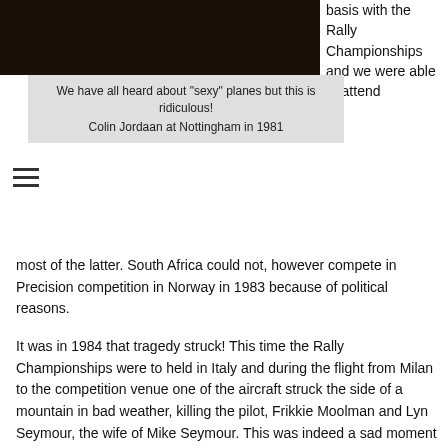[Figure (photo): Dark photograph, likely an airplane, with dark brown/black tones]
We have all heard about “sexy” planes but this is ridiculous!
Colin Jordaan at Nottingham in 1981
basis with the Rally Championships and we were able to attend most of the latter. South Africa could not, however compete in Precision competition in Norway in 1983 because of political reasons.
It was in 1984 that tragedy struck! This time the Rally Championships were to held in Italy and during the flight from Milan to the competition venue one of the aircraft struck the side of a mountain in bad weather, killing the pilot, Frikkie Moolman and Lyn Seymour, the wife of Mike Seymour. This was indeed a sad moment for SAPFA and the Aero Club of South Africa. Despite the trauma of the accident Chris Kyle and Gavin Beck still took part and finished a creditable 16th overall, and 2nd in the landings. The SA team was awarded a special trophy for their endurance under such difficult circumstances.